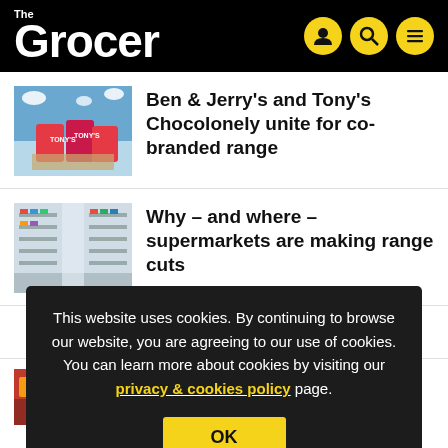The Grocer
Ben & Jerry's and Tony's Chocolonely unite for co-branded range
Why – and where – supermarkets are making range cuts
This website uses cookies. By continuing to browse our website, you are agreeing to our use of cookies. You can learn more about cookies by visiting our privacy & cookies policy page.
OK
Snappy Shopper to launch 1p promotion on packed-lunch supplies in Scotland